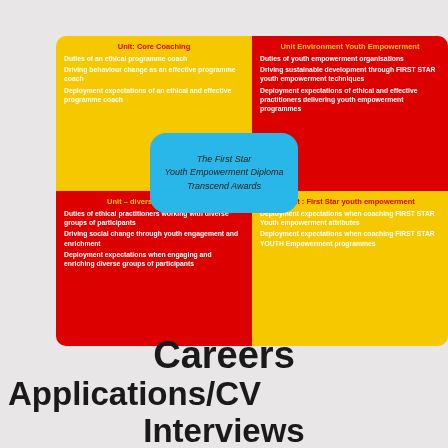[Figure (infographic): Four-quadrant diagram representing The First Star Youth Empowerment Diploma Transcend Awards. Top-left yellow quadrant: Unit: Core Coaching. Top-right red quadrant: Unit Environment Youth Empowerment. Bottom-left red quadrant: Unit – diverse populations. Bottom-right yellow quadrant: Unit: First Star youth empowerment. Center blue rounded box: The First Star Youth Empowerment Diploma Transcend Awards.]
Careers
Applications/CV
Interviews